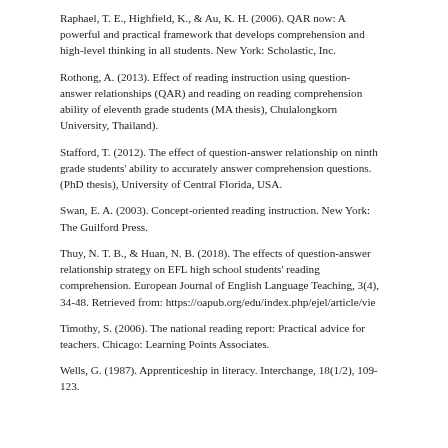Raphael, T. E., Highfield, K., & Au, K. H. (2006). QAR now: A powerful and practical framework that develops comprehension and high-level thinking in all students. New York: Scholastic, Inc.
Rothong, A. (2013). Effect of reading instruction using question-answer relationships (QAR) and reading on reading comprehension ability of eleventh grade students (MA thesis), Chulalongkorn University, Thailand).
Stafford, T. (2012). The effect of question-answer relationship on ninth grade students' ability to accurately answer comprehension questions. (PhD thesis), University of Central Florida, USA.
Swan, E. A. (2003). Concept-oriented reading instruction. New York: The Guilford Press.
Thuy, N. T. B., & Huan, N. B. (2018). The effects of question-answer relationship strategy on EFL high school students' reading comprehension. European Journal of English Language Teaching, 3(4), 34-48. Retrieved from: https://oapub.org/edu/index.php/ejel/article/vie
Timothy, S. (2006). The national reading report: Practical advice for teachers. Chicago: Learning Points Associates.
Wells, G. (1987). Apprenticeship in literacy. Interchange, 18(1/2), 109-123.